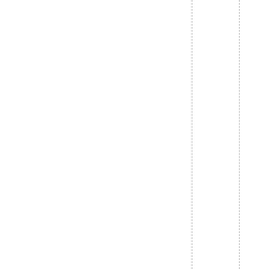st of the citizenry. If they commit criminal acts that result in injur